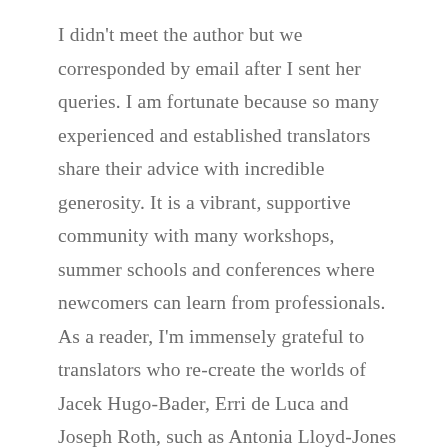I didn't meet the author but we corresponded by email after I sent her queries. I am fortunate because so many experienced and established translators share their advice with incredible generosity. It is a vibrant, supportive community with many workshops, summer schools and conferences where newcomers can learn from professionals. As a reader, I'm immensely grateful to translators who re-create the worlds of Jacek Hugo-Bader, Erri de Luca and Joseph Roth, such as Antonia Lloyd-Jones from Polish, Danièle Valin from Italian and Stéphane Pesnel from German.